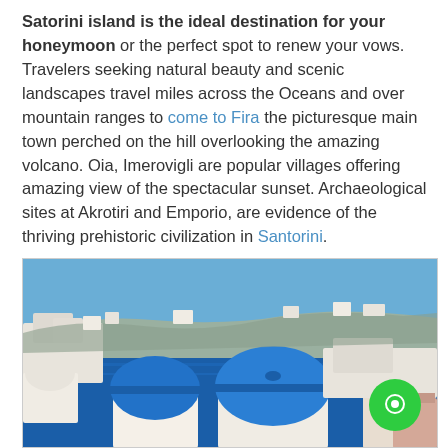Satorini island is the ideal destination for your honeymoon or the perfect spot to renew your vows. Travelers seeking natural beauty and scenic landscapes travel miles across the Oceans and over mountain ranges to come to Fira the picturesque main town perched on the hill overlooking the amazing volcano. Oia, Imerovigli are popular villages offering amazing view of the spectacular sunset. Archaeological sites at Akrotiri and Emporio, are evidence of the thriving prehistoric civilization in Santorini.
[Figure (photo): Panoramic photo of Santorini showing iconic blue-domed white churches in Oia in the foreground, with the deep blue caldera sea and cliffs in the background under a clear blue sky. A green chat bubble icon with a white circle/chat symbol is overlaid in the bottom-right corner.]